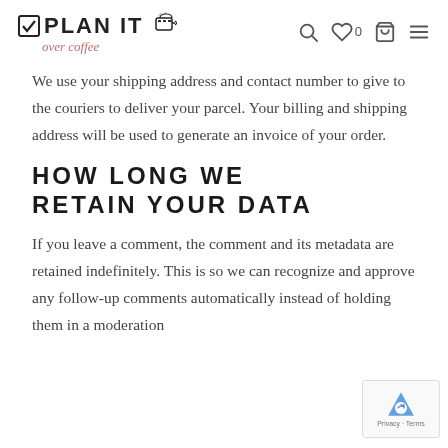PLAN IT over coffee
We use your shipping address and contact number to give to the couriers to deliver your parcel. Your billing and shipping address will be used to generate an invoice of your order.
HOW LONG WE RETAIN YOUR DATA
If you leave a comment, the comment and its metadata are retained indefinitely. This is so we can recognize and approve any follow-up comments automatically instead of holding them in a moderation